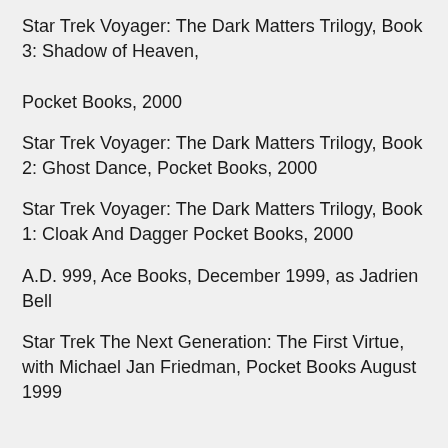Star Trek Voyager: The Dark Matters Trilogy, Book 3: Shadow of Heaven, Pocket Books, 2000
Star Trek Voyager: The Dark Matters Trilogy, Book 2: Ghost Dance, Pocket Books, 2000
Star Trek Voyager: The Dark Matters Trilogy, Book 1: Cloak And Dagger Pocket Books, 2000
A.D. 999, Ace Books, December 1999, as Jadrien Bell
Star Trek The Next Generation: The First Virtue, with Michael Jan Friedman, Pocket Books August 1999